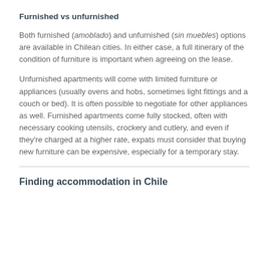Furnished vs unfurnished
Both furnished (amoblado) and unfurnished (sin muebles) options are available in Chilean cities. In either case, a full itinerary of the condition of furniture is important when agreeing on the lease.
Unfurnished apartments will come with limited furniture or appliances (usually ovens and hobs, sometimes light fittings and a couch or bed). It is often possible to negotiate for other appliances as well. Furnished apartments come fully stocked, often with necessary cooking utensils, crockery and cutlery, and even if they're charged at a higher rate, expats must consider that buying new furniture can be expensive, especially for a temporary stay.
Finding accommodation in Chile